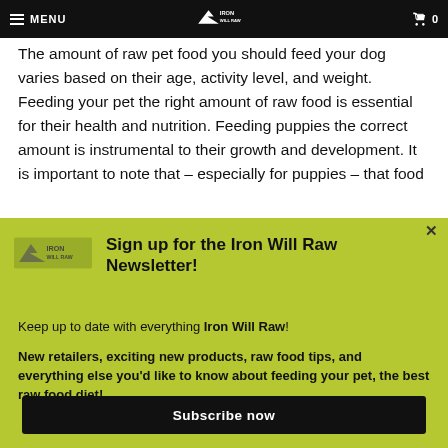MENU | Iron Will Raw logo | 0
The amount of raw pet food you should feed your dog varies based on their age, activity level, and weight. Feeding your pet the right amount of raw food is essential for their health and nutrition. Feeding puppies the correct amount is instrumental to their growth and development. It is important to note that – especially for puppies – that food
[Figure (logo): Iron Will Raw logo in popup]
Sign up for the Iron Will Raw Newsletter!
Keep up to date with everything Iron Will Raw!
New retailers, exciting new products, raw food tips, and everything else you'd like to know about feeding your pet, the best raw food diet!
Subscribe now